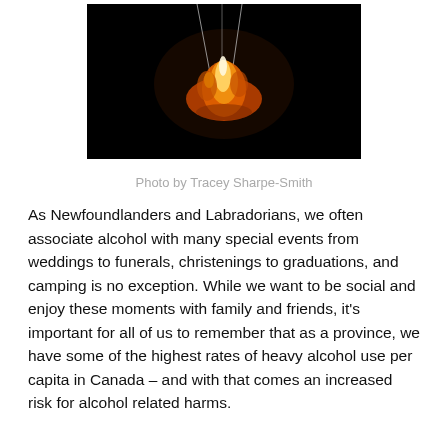[Figure (photo): A dark photograph showing flames from a campfire against a black background, with thin wire or string elements visible.]
Photo by Tracey Sharpe-Smith
As Newfoundlanders and Labradorians, we often associate alcohol with many special events from weddings to funerals, christenings to graduations, and camping is no exception. While we want to be social and enjoy these moments with family and friends, it's important for all of us to remember that as a province, we have some of the highest rates of heavy alcohol use per capita in Canada – and with that comes an increased risk for alcohol related harms.